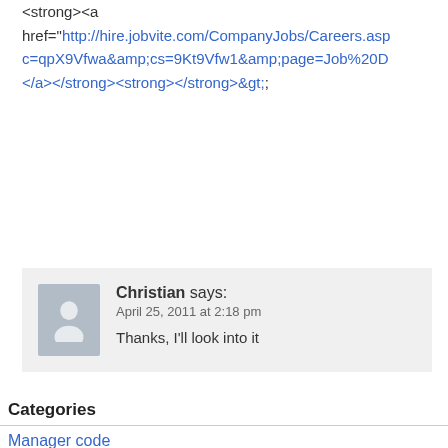<strong><a href="http://hire.jobvite.com/CompanyJobs/Careers.asp c=qpX9Vfwa&amp;cs=9Kt9Vfw1&amp;page=Job%20D </a></strong><strong></strong>&gt;;
Christian says: April 25, 2011 at 2:18 pm
Thanks, I'll look into it
Categories
Manager code
Meta
Miscellaneous
Mobile
Motorcycles
Mozilla